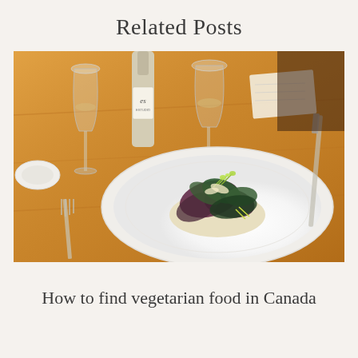Related Posts
[Figure (photo): A restaurant table setting with a white plate holding a mixed green salad with microgreens and shaved cheese, wine glasses, a wine bottle labeled 'es', and silverware on a warm wooden table.]
How to find vegetarian food in Canada